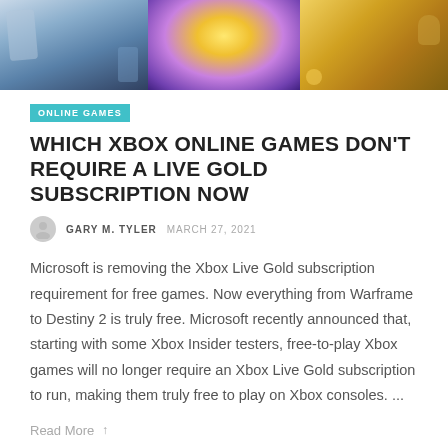[Figure (photo): Hero banner image showing three game artwork panels side by side: a blue-toned winter/sci-fi scene on the left, a glowing purple/gold magical scene in the center, and a gold/treasure-themed scene on the right.]
ONLINE GAMES
WHICH XBOX ONLINE GAMES DON'T REQUIRE A LIVE GOLD SUBSCRIPTION NOW
GARY M. TYLER  MARCH 27, 2021
Microsoft is removing the Xbox Live Gold subscription requirement for free games. Now everything from Warframe to Destiny 2 is truly free. Microsoft recently announced that, starting with some Xbox Insider testers, free-to-play Xbox games will no longer require an Xbox Live Gold subscription to run, making them truly free to play on Xbox consoles. ...
Read More ↑